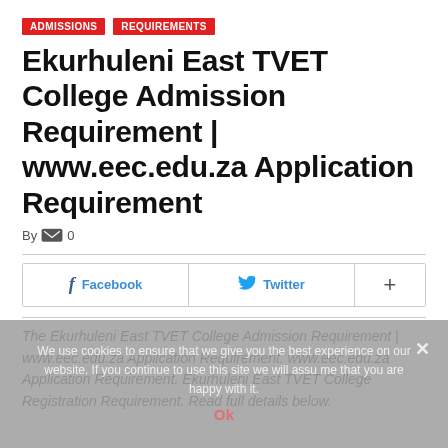ADMISSIONS  REQUIREMENTS
Ekurhuleni East TVET College Admission Requirement | www.eec.edu.za Application Requirement
By  0
[Figure (other): Social share buttons: Facebook, Twitter, and a plus (+) button]
The Ekurhuleni East TVET College Admission Requirement | www.eec.edu.za Application Requirement. www.eec.edu.za Application Requirement. Ekurhuleni East TVET College Registration Requirement. Read full details below.
We use cookies to ensure that we give you the best experience on our website. If you continue to use this site we will assume that you are happy with it. Ok